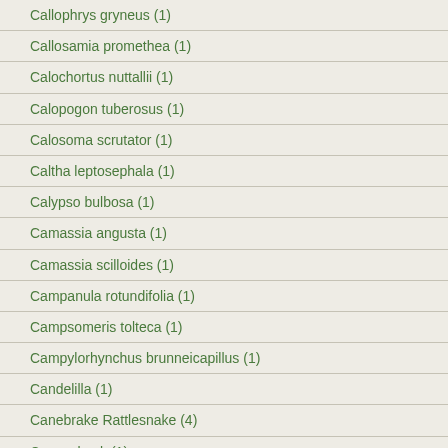Callophrys gryneus (1)
Callosamia promethea (1)
Calochortus nuttallii (1)
Calopogon tuberosus (1)
Calosoma scrutator (1)
Caltha leptosephala (1)
Calypso bulbosa (1)
Camassia angusta (1)
Camassia scilloides (1)
Campanula rotundifolia (1)
Campsomeris tolteca (1)
Campylorhynchus brunneicapillus (1)
Candelilla (1)
Canebrake Rattlesnake (4)
Canvasback (1)